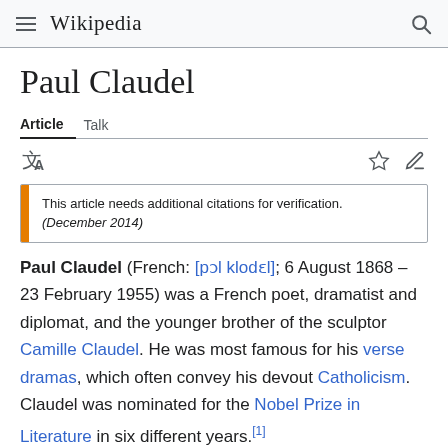Wikipedia
Paul Claudel
Article   Talk
This article needs additional citations for verification. (December 2014)
Paul Claudel (French: [pɔl klodɛl]; 6 August 1868 – 23 February 1955) was a French poet, dramatist and diplomat, and the younger brother of the sculptor Camille Claudel. He was most famous for his verse dramas, which often convey his devout Catholicism. Claudel was nominated for the Nobel Prize in Literature in six different years.[1]